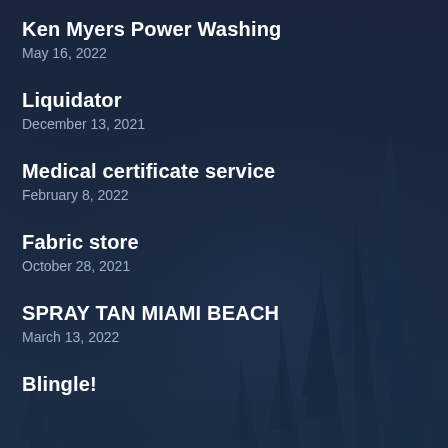Ken Myers Power Washing
May 16, 2022
Liquidator
December 13, 2021
Medical certificate service
February 8, 2022
Fabric store
October 28, 2021
SPRAY TAN MIAMI BEACH
March 13, 2022
Blingle!